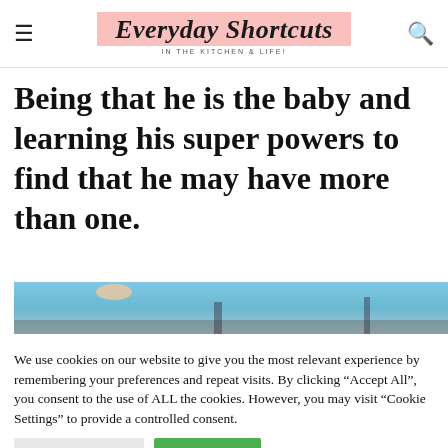Everyday Shortcuts IN THE KITCHEN & LIFE!
Being that he is the baby and learning his super powers to find that he may have more than one.
[Figure (photo): Partial view of an outdoor photo showing a sky background with some structures, cropped at the bottom of frame.]
We use cookies on our website to give you the most relevant experience by remembering your preferences and repeat visits. By clicking “Accept All”, you consent to the use of ALL the cookies. However, you may visit “Cookie Settings” to provide a controlled consent.